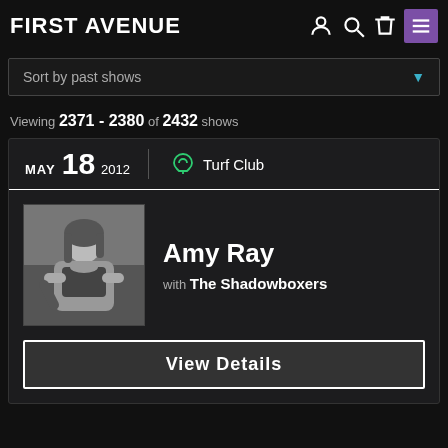FIRST AVENUE
Sort by past shows
Viewing 2371 - 2380 of 2432 shows
MAY 18 2012 | Turf Club
[Figure (photo): Black and white photo of Amy Ray sitting with arms crossed]
Amy Ray with The Shadowboxers
View Details